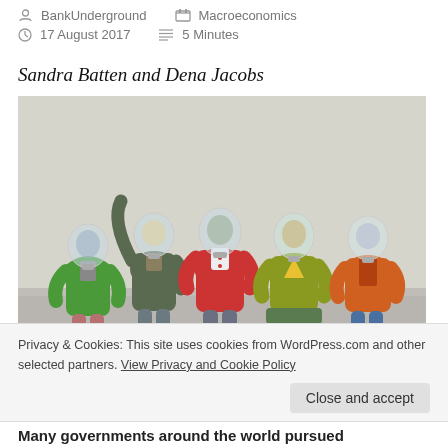BankUnderground   Macroeconomics   17 August 2017   5 Minutes
Sandra Batten and Dena Jacobs
[Figure (photo): Five colorful figurines with light bulb heads seated in a row, wearing jackets in green, dark green/gray, red, yellow-green, and orange colors]
Privacy & Cookies: This site uses cookies from WordPress.com and other selected partners. View Privacy and Cookie Policy
Close and accept
Many governments around the world pursued